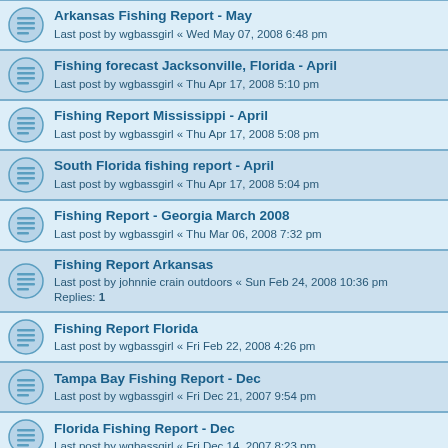Arkansas Fishing Report - May | Last post by wgbassgirl « Wed May 07, 2008 6:48 pm
Fishing forecast Jacksonville, Florida - April | Last post by wgbassgirl « Thu Apr 17, 2008 5:10 pm
Fishing Report Mississippi - April | Last post by wgbassgirl « Thu Apr 17, 2008 5:08 pm
South Florida fishing report - April | Last post by wgbassgirl « Thu Apr 17, 2008 5:04 pm
Fishing Report - Georgia March 2008 | Last post by wgbassgirl « Thu Mar 06, 2008 7:32 pm
Fishing Report Arkansas | Last post by johnnie crain outdoors « Sun Feb 24, 2008 10:36 pm | Replies: 1
Fishing Report Florida | Last post by wgbassgirl « Fri Feb 22, 2008 4:26 pm
Tampa Bay Fishing Report - Dec | Last post by wgbassgirl « Fri Dec 21, 2007 9:54 pm
Florida Fishing Report - Dec | Last post by wgbassgirl « Fri Dec 14, 2007 8:23 pm
Georgia Fishing Report - Dec | Last post by wgbassgirl « Fri Dec 14, 2007 8:18 pm
Northwest Arkansas Fishing Report December | Last post by wgbassgirl « Wed Dec 05, 2007 3:19 pm